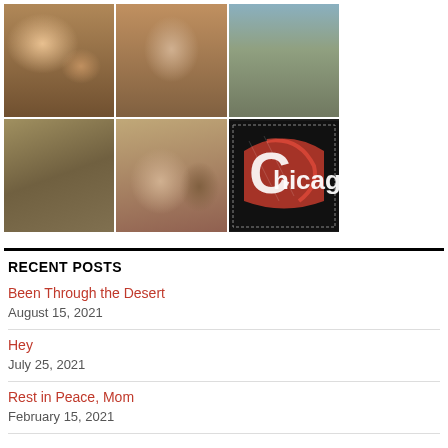[Figure (photo): 3x2 grid of six photos: family group portrait, person on bed, rocky hillside road, restaurant/church interior with wooden chairs, two men seated on couch, Chicago neon sign]
RECENT POSTS
Been Through the Desert
August 15, 2021
Hey
July 25, 2021
Rest in Peace, Mom
February 15, 2021